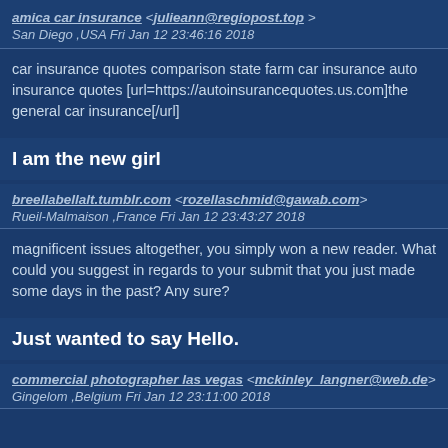amica car insurance <julieann@regiopost.top>
San Diego ,USA Fri Jan 12 23:46:16 2018
car insurance quotes comparison state farm car insurance auto insurance quotes [url=https://autoinsurancequotes.us.com]the general car insurance[/url]
I am the new girl
breellabellalt.tumblr.com <rozellaschmid@gawab.com>
Rueil-Malmaison ,France Fri Jan 12 23:43:27 2018
magnificent issues altogether, you simply won a new reader. What could you suggest in regards to your submit that you just made some days in the past? Any sure?
Just wanted to say Hello.
commercial photographer las vegas <mckinley_langner@web.de>
Gingelom ,Belgium Fri Jan 12 23:11:00 2018